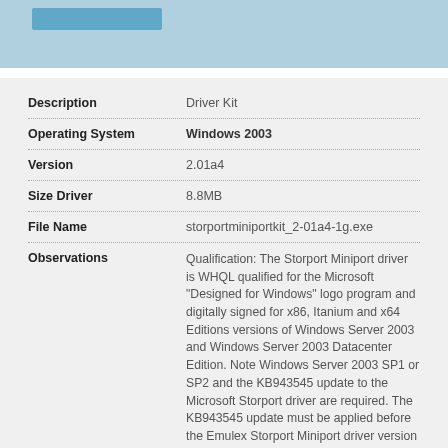| Field | Value |
| --- | --- |
| Description | Driver Kit |
| Operating System | Windows 2003 |
| Version | 2.01a4 |
| Size Driver | 8.8MB |
| File Name | storportminiportkit_2-01a4-1g.exe |
| Observations | Qualification: The Storport Miniport driver is WHQL qualified for the Microsoft "Designed for Windows" logo program and digitally signed for x86, Itanium and x64 Editions versions of Windows Server 2003 and Windows Server 2003 Datacenter Edition. Note Windows Server 2003 SP1 or SP2 and the KB943545 update to the Microsoft Storport driver are required. The KB943545 update must be applied before the Emulex Storport Miniport driver version 2.01a4 can be installed. |